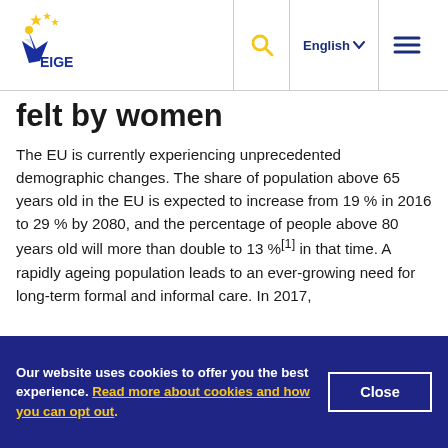EIGE logo header with search, language selector (English), and menu icons
felt by women
The EU is currently experiencing unprecedented demographic changes. The share of population above 65 years old in the EU is expected to increase from 19 % in 2016 to 29 % by 2080, and the percentage of people above 80 years old will more than double to 13 %[1] in that time. A rapidly ageing population leads to an ever-growing need for long-term formal and informal care. In 2017,
Our website uses cookies to offer you the best experience. Read more about cookies and how you can opt out.